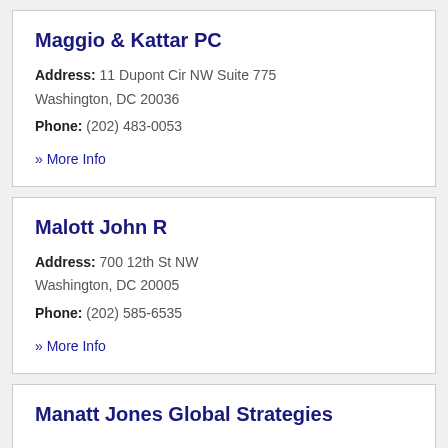Maggio & Kattar PC
Address: 11 Dupont Cir NW Suite 775 Washington, DC 20036
Phone: (202) 483-0053
» More Info
Malott John R
Address: 700 12th St NW Washington, DC 20005
Phone: (202) 585-6535
» More Info
Manatt Jones Global Strategies